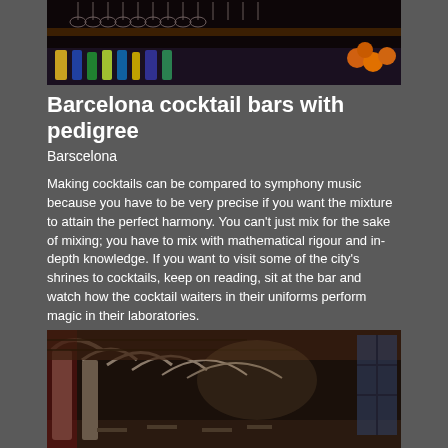[Figure (photo): Dark bar interior with hanging glasses overhead and illuminated liquor bottles below]
Barcelona cocktail bars with pedigree
Barscelona
Making cocktails can be compared to symphony music because you have to be very precise if you want the mixture to attain the perfect harmony. You can't just mix for the sake of mixing; you have to mix with mathematical rigour and in-depth knowledge. If you want to visit some of the city's shrines to cocktails, keep on reading, sit at the bar and watch how the cocktail waiters in their uniforms perform magic in their laboratories.
[Figure (photo): Interior of a grand bar/restaurant with stone arched columns and high vaulted wooden ceiling]